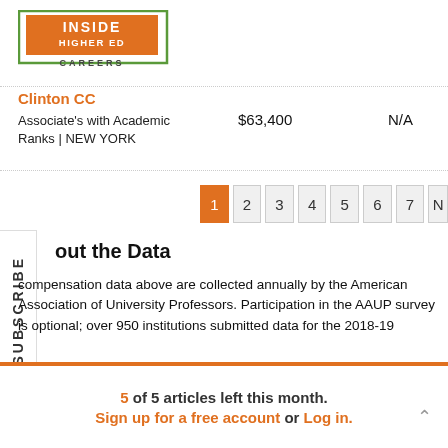[Figure (logo): Inside Higher Ed Careers logo — orange rectangle with white text INSIDE HIGHER ED, green border, CAREERS label below]
Clinton CC
Associate's with Academic Ranks | NEW YORK    $63,400    N/A
1 2 3 4 5 6 7 N (pagination)
About the Data
The compensation data above are collected annually by the American Association of University Professors. Participation in the AAUP survey is optional; over 950 institutions submitted data for the 2018-19
5 of 5 articles left this month. Sign up for a free account or Log in.